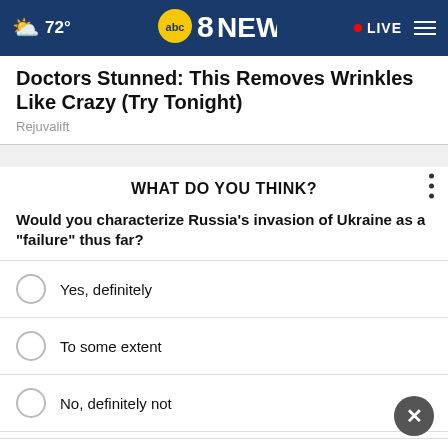72° | ABC8NEWS | LIVE
Doctors Stunned: This Removes Wrinkles Like Crazy (Try Tonight)
Rejuvalift
WHAT DO YOU THINK?
Would you characterize Russia's invasion of Ukraine as a "failure" thus far?
Yes, definitely
To some extent
No, definitely not
Other / No opinion
THESHELTERPETPROJECT.ORG